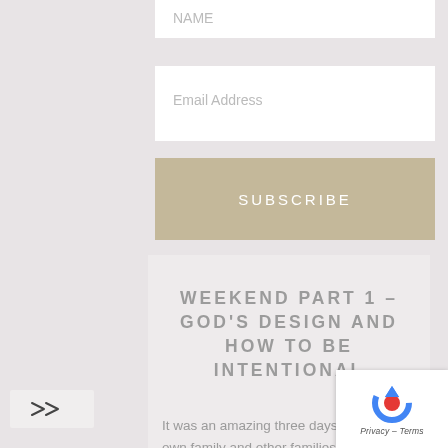Name (partially visible at top)
Email Address
SUBSCRIBE
WEEKEND PART 1 – GOD'S DESIGN AND HOW TO BE INTENTIONAL
It was an amazing three days with our own family and other families at Mt. Makiling Recreation Center for Family Breakthrough Weekend! Here is the...
[Figure (logo): Share icon (double arrow forward) at bottom left]
[Figure (other): Google reCAPTCHA badge bottom right with spinning arrows logo and Privacy – Terms text]